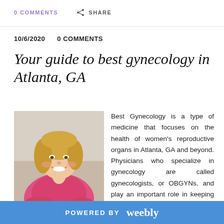0 COMMENTS   SHARE
10/6/2020   0 COMMENTS
Your guide to best gynecology in Atlanta, GA
[Figure (photo): Smiling middle-aged blonde woman in a pink cardigan, leaning forward with arms crossed, indoor background]
Best Gynecology is a type of medicine that focuses on the health of women's reproductive organs in Atlanta, GA and beyond. Physicians who specialize in gynecology are called gynecologists, or OBGYNs, and play an important role in keeping women healthy. We'll answer some common questions people have about
POWERED BY weebly